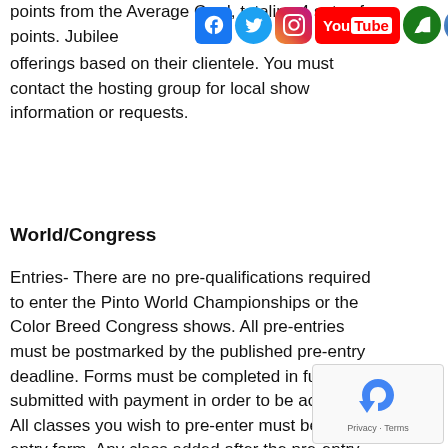points from the Average Card, totaling 4 sets of points. Jubilee … offerings based on their clientele. You must contact the hosting group for local show information or requests.
[Figure (logo): Social media icons: Facebook, Twitter, Instagram, YouTube, eco icon, and Contact Us button]
World/Congress
Entries- There are no pre-qualifications required to enter the Pinto World Championships or the Color Breed Congress shows. All pre-entries must be postmarked by the published pre-entry deadline. Forms must be completed in full and submitted with payment in order to be accepted. All classes you wish to pre-enter must be on the entry form. Any class added after the pre-entry deadline will be subject to the late entry cost. You may enter up to the day before the class by 6pm at the Show Office at the post entry fee price as applicable to the time frame in which you sign up. If you are planning on
[Figure (other): reCAPTCHA widget with refresh icon, Privacy and Terms text]